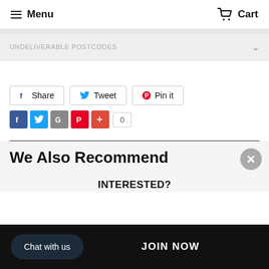Menu   Cart
UNDELIVERABLE POSTCODES
[Figure (other): Social share buttons: Share (Facebook), Tweet (Twitter), Pin it (Pinterest)]
[Figure (other): Small social icon buttons row: Facebook, Twitter, Google, Pinterest, Add (+), count: 0]
We Also Recommend
INTERESTED?
Chat with us
JOIN NOW